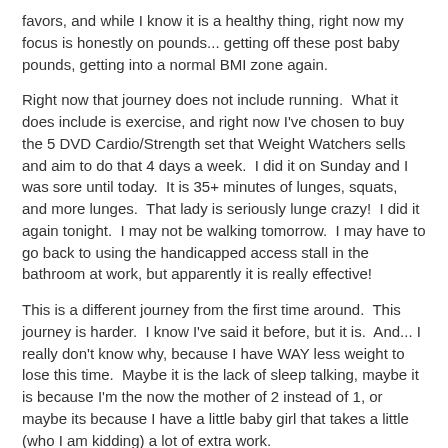favors, and while I know it is a healthy thing, right now my focus is honestly on pounds... getting off these post baby pounds, getting into a normal BMI zone again.
Right now that journey does not include running.  What it does include is exercise, and right now I've chosen to buy the 5 DVD Cardio/Strength set that Weight Watchers sells and aim to do that 4 days a week.  I did it on Sunday and I was sore until today.  It is 35+ minutes of lunges, squats, and more lunges.  That lady is seriously lunge crazy!  I did it again tonight.  I may not be walking tomorrow.  I may have to go back to using the handicapped access stall in the bathroom at work, but apparently it is really effective!
This is a different journey from the first time around.  This journey is harder.  I know I've said it before, but it is.  And... I really don't know why, because I have WAY less weight to lose this time.  Maybe it is the lack of sleep talking, maybe it is because I'm the now the mother of 2 instead of 1, or maybe its because I have a little baby girl that takes a little (who I am kidding) a lot of extra work.